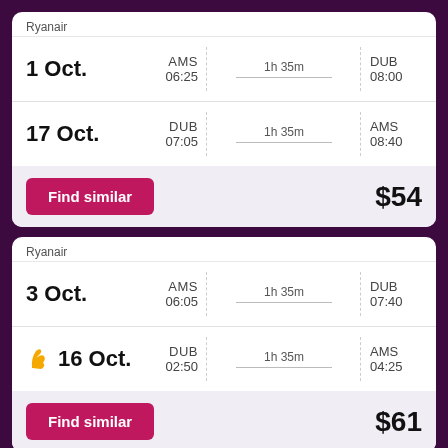Ryanair
| Date | From | Duration | To |
| --- | --- | --- | --- |
| 1 Oct. | AMS 06:25 | 1h 35m | DUB 08:00 |
| 17 Oct. | DUB 07:05 | 1h 35m | AMS 08:40 |
Find similar $54
Ryanair
| Date | From | Duration | To |
| --- | --- | --- | --- |
| 3 Oct. | AMS 06:05 | 1h 35m | DUB 07:40 |
| 16 Oct. | DUB 02:50 | 1h 35m | AMS 04:25 |
Find similar $61